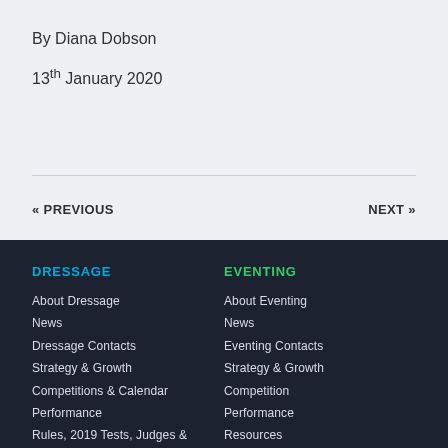By Diana Dobson
13th January 2020
« PREVIOUS
NEXT »
DRESSAGE
About Dressage
News
Dressage Contacts
Strategy & Growth
Competitions & Calendar
Performance
Rules, 2019 Tests, Judges &
EVENTING
About Eventing
News
Eventing Contacts
Strategy & Growth
Competition
Performance
Resources